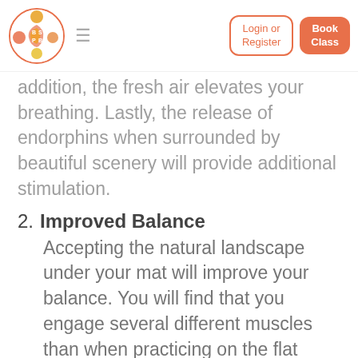[Figure (logo): BSP yoga studio logo — circular orange and yellow decorative emblem]
Login or Register | Book Class
addition, the fresh air elevates your breathing. Lastly, the release of endorphins when surrounded by beautiful scenery will provide additional stimulation.
2. Improved Balance
Accepting the natural landscape under your mat will improve your balance. You will find that you engage several different muscles than when practicing on the flat surface of the studio. The muscles